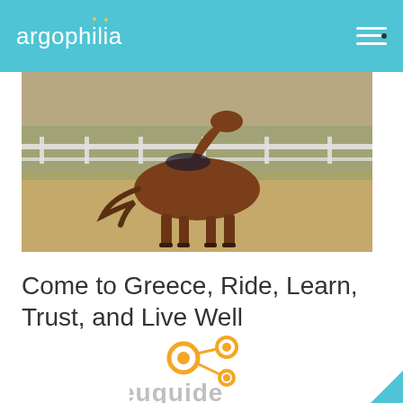argophilia
[Figure (photo): A brown horse walking in a sandy equestrian arena with white fence in the background and a rider/saddle visible on its back]
Come to Greece, Ride, Learn, Trust, and Live Well
[Figure (logo): Euguide logo with orange network/graph icon above partially visible grey text reading 'euguide']